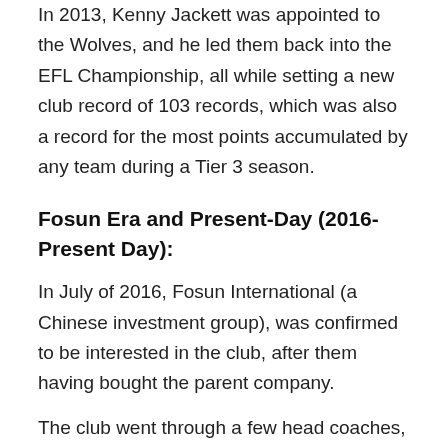In 2013, Kenny Jackett was appointed to the Wolves, and he led them back into the EFL Championship, all while setting a new club record of 103 records, which was also a record for the most points accumulated by any team during a Tier 3 season.
Fosun Era and Present-Day (2016-Present Day):
In July of 2016, Fosun International (a Chinese investment group), was confirmed to be interested in the club, after them having bought the parent company.
The club went through a few head coaches, but eventually, in 2016, Nuno Espirito Santo (former boss of the FC Porto), was appointed to the Wolves, and they